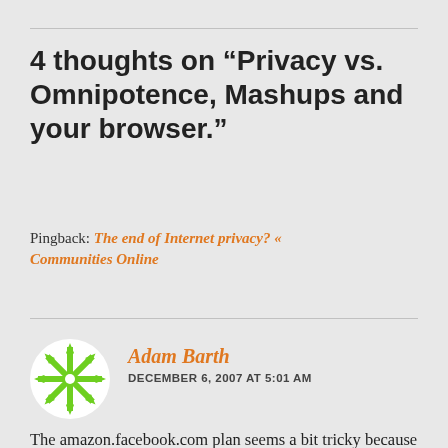4 thoughts on “Privacy vs. Omnipotence, Mashups and your browser.”
Pingback: The end of Internet privacy? « Communities Online
[Figure (illustration): Green and white geometric snowflake/star avatar icon for commenter Adam Barth]
Adam Barth
DECEMBER 6, 2007 AT 5:01 AM
The amazon.facebook.com plan seems a bit tricky because Facebook sets all its cookies for “.facebook.com”, meaning your browser will happily send your login credentials to that Amazon…